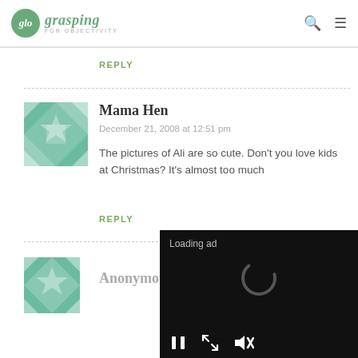glo grasping FOR OBJECTIVITY
REPLY
Mama Hen
December 21, 2008 at 12:51 pm
The pictures of Ali are so cute. Don't you love kids at Christmas? It's almost too much
REPLY
Anonymous
[Figure (screenshot): Video ad overlay showing 'Loading ad' text with a spinner and media controls (pause, resize, mute) on a black background]